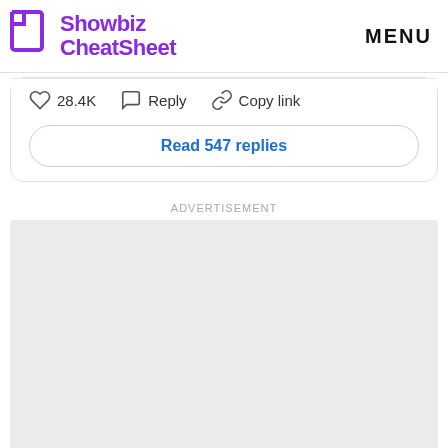Showbiz CheatSheet   MENU
28.4K   Reply   Copy link
Read 547 replies
ADVERTISEMENT
[Figure (other): Gray advertisement placeholder rectangle]